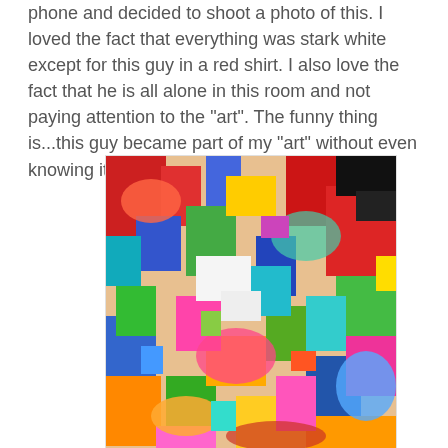phone and decided to shoot a photo of this. I loved the fact that everything was stark white except for this guy in a red shirt. I also love the fact that he is all alone in this room and not paying attention to the "art". The funny thing is...this guy became part of my "art" without even knowing it. How about that?
[Figure (photo): A colorful, densely packed abstract/figurative artwork or mural featuring vibrant shapes and figures in many colors including red, blue, green, yellow, pink, orange, teal, and black.]